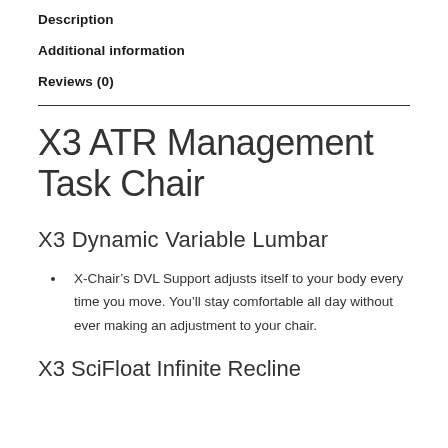Description
Additional information
Reviews (0)
X3 ATR Management Task Chair
X3 Dynamic Variable Lumbar
X-Chair’s DVL Support adjusts itself to your body every time you move. You’ll stay comfortable all day without ever making an adjustment to your chair.
X3 SciFloat Infinite Recline